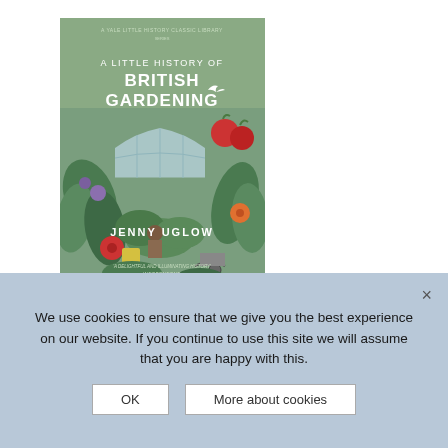[Figure (illustration): Book cover of 'A Little History of British Gardening' by Jenny Uglow. Green background with illustrated plants, flowers, vegetables, a greenhouse, birds, and a gardener. Title in white text, author name in white at the bottom.]
A Little
We use cookies to ensure that we give you the best experience on our website. If you continue to use this site we will assume that you are happy with this.